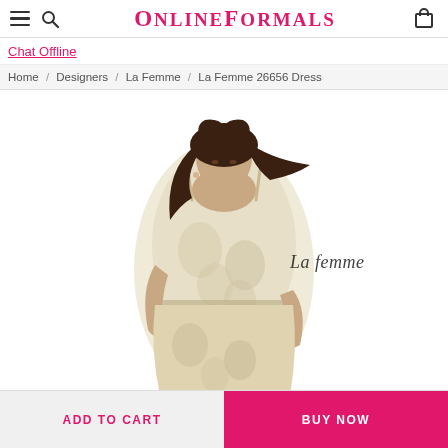OnlineFormals
Chat Offline
Home / Designers / La Femme / La Femme 26656 Dress
[Figure (photo): Model wearing La Femme 26656 dress — a sleeveless, floral-embroidered ivory/gold formal gown with spaghetti straps. The La Femme brand script logo is visible on the right side of the image.]
ADD TO CART
BUY NOW